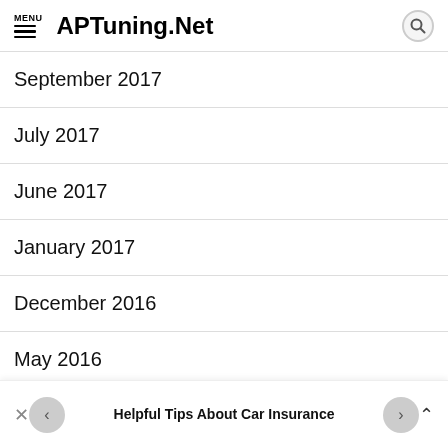MENU  APTuning.Net
September 2017
July 2017
June 2017
January 2017
December 2016
May 2016
Helpful Tips About Car Insurance